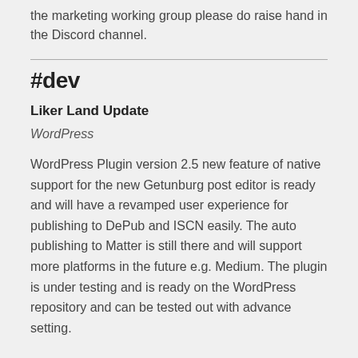the marketing working group please do raise hand in the Discord channel.
#dev
Liker Land Update
WordPress
WordPress Plugin version 2.5 new feature of native support for the new Getunburg post editor is ready and will have a revamped user experience for publishing to DePub and ISCN easily. The auto publishing to Matter is still there and will support more platforms in the future e.g. Medium. The plugin is under testing and is ready on the WordPress repository and can be tested out with advance setting.